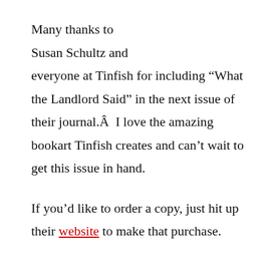Many thanks to Susan Schultz and everyone at Tinfish for including “What the Landlord Said” in the next issue of their journal.Â  I love the amazing bookart Tinfish creates and can’t wait to get this issue in hand.
If you’d like to order a copy, just hit up their website to make that purchase.